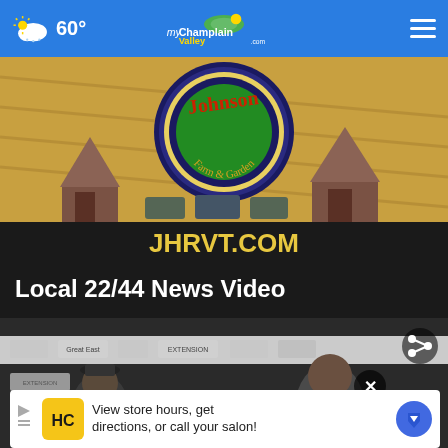60° | myChamplainValley.com
[Figure (photo): Johnson Farm & Garden advertisement image with JHRVT.COM text below]
Local 22/44 News Video
[Figure (screenshot): News video thumbnail showing people at a press conference with sponsor banners]
View store hours, get directions, or call your salon!